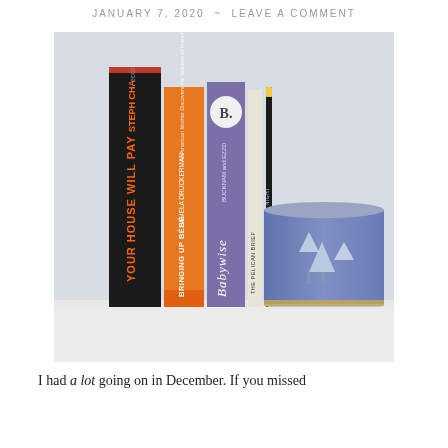JANUARY 7, 2020  ~  LEAVE A COMMENT
[Figure (photo): A shelf with four books standing upright next to a decorative blue and white cylindrical planter. Book spines visible: 'Your House Will Pay' by Steph Cha (black spine, ecco publisher), 'Bringing Up Bébé' by Pamela Druckerman (orange spine), 'Babywise' by Bucknam and Ezzo (purple spine with a 'B.' logo), and 'The Pelican Brief' (thin white spine). A black pencil leans against the books. The planter features a winter forest scene.]
I had a lot going on in December. If you missed